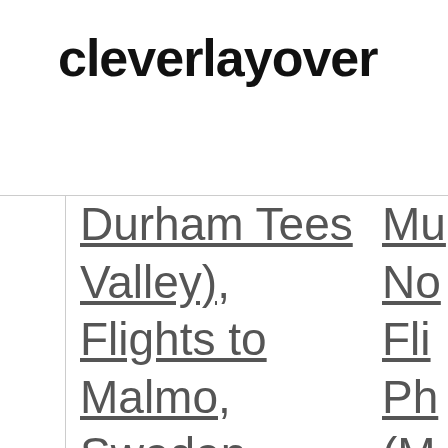cleverlayover
| Durham Tees Valley), | Mu No |
| Flights to Malmo, Sweden (MMX-Sturup) | Fli Ph (M Ac |